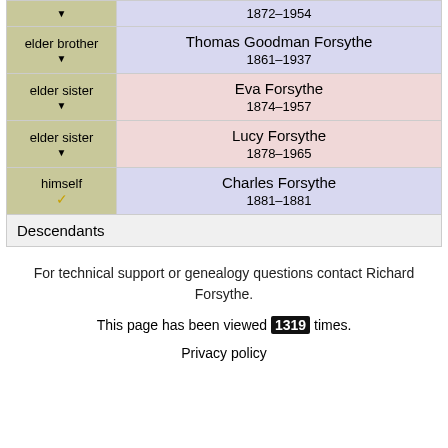| Relationship | Person |
| --- | --- |
|  | 1872–1954 |
| elder brother ▼ | Thomas Goodman Forsythe
1861–1937 |
| elder sister ▼ | Eva Forsythe
1874–1957 |
| elder sister ▼ | Lucy Forsythe
1878–1965 |
| himself ✓ | Charles Forsythe
1881–1881 |
Descendants
For technical support or genealogy questions contact Richard Forsythe.
This page has been viewed 1319 times.
Privacy policy